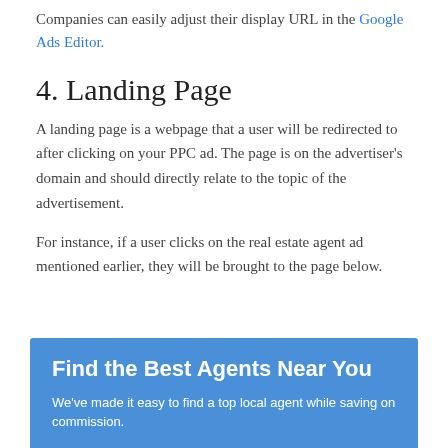Companies can easily adjust their display URL in the Google Ads Editor.
4. Landing Page
A landing page is a webpage that a user will be redirected to after clicking on your PPC ad. The page is on the advertiser's domain and should directly relate to the topic of the advertisement.
For instance, if a user clicks on the real estate agent ad mentioned earlier, they will be brought to the page below.
[Figure (screenshot): Blue landing page banner with bold white text 'Find the Best Agents Near You' and subtext 'We've made it easy to find a top local agent while saving on commission.']